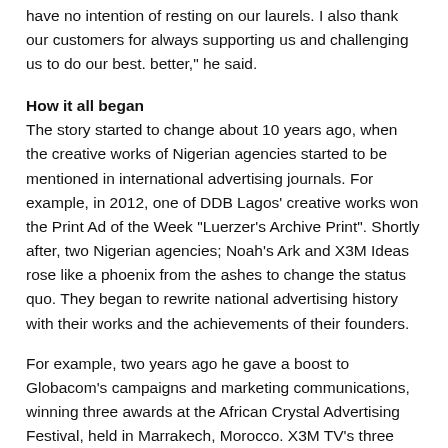have no intention of resting on our laurels. I also thank our customers for always supporting us and challenging us to do our best. better," he said.
How it all began
The story started to change about 10 years ago, when the creative works of Nigerian agencies started to be mentioned in international advertising journals. For example, in 2012, one of DDB Lagos' creative works won the Print Ad of the Week “Luerzer’s Archive Print”. Shortly after, two Nigerian agencies; Noah’s Ark and X3M Ideas rose like a phoenix from the ashes to change the status quo. They began to rewrite national advertising history with their works and the achievements of their founders.
For example, two years ago he gave a boost to Globacom’s campaigns and marketing communications, winning three awards at the African Crystal Advertising Festival, held in Marrakech, Morocco. X3M TV’s three advertising awards, tagged: Unmatched